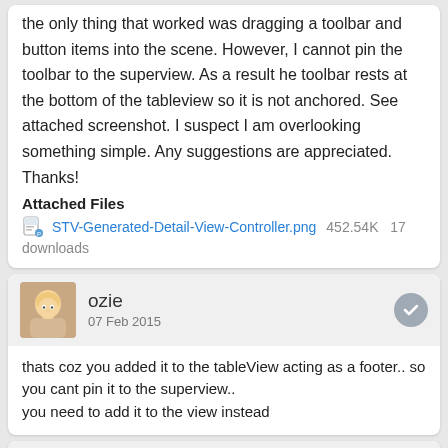the only thing that worked was dragging a toolbar and button items into the scene. However, I cannot pin the toolbar to the superview. As a result he toolbar rests at the bottom of the tableview so it is not anchored. See attached screenshot. I suspect I am overlooking something simple. Any suggestions are appreciated.

Thanks!
Attached Files
STV-Generated-Detail-View-Controller.png  452.54K  17 downloads
ozie
07 Feb 2015
thats coz you added it to the tableView acting as a footer.. so you cant pin it to the superview..
you need to add it to the view instead
Donovan Dillon
08 Feb 2015
Thanks for the suggestion ozie. It's an STV created detail view and it doesn't contain a superview -- just a tableview. I added a view in IB and placed the toolbar inside it; but because there's no superview,